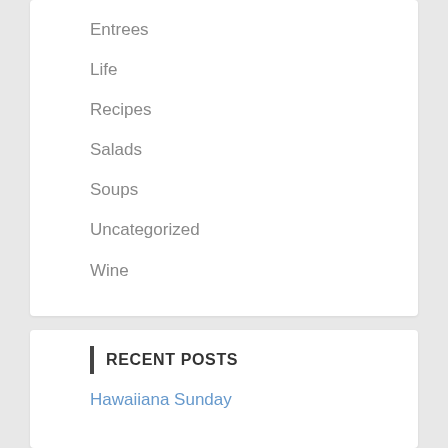Entrees
Life
Recipes
Salads
Soups
Uncategorized
Wine
RECENT POSTS
Hawaiiana Sunday